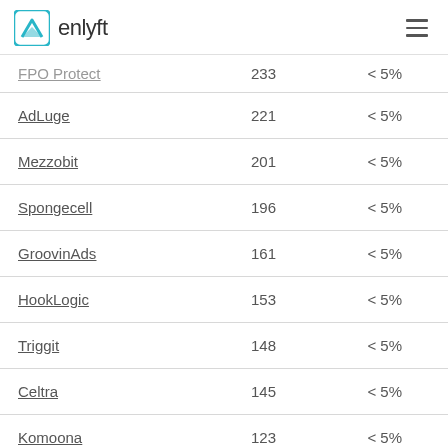enlyft
|  |  |  |
| --- | --- | --- |
| FPO Protect | 233 | < 5% |
| AdLuge | 221 | < 5% |
| Mezzobit | 201 | < 5% |
| Spongecell | 196 | < 5% |
| GroovinAds | 161 | < 5% |
| HookLogic | 153 | < 5% |
| Triggit | 148 | < 5% |
| Celtra | 145 | < 5% |
| Komoona | 123 | < 5% |